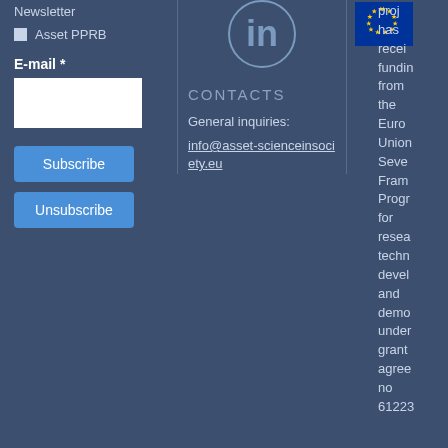Newsletter
Asset PPRB
E-mail *
Subscribe
Unsubscribe
[Figure (logo): LinkedIn circular icon in white on dark background]
CONTACTS
General inquiries:
info@asset-scienceinsociety.eu
[Figure (illustration): European Union flag - blue background with circle of yellow stars]
project has received funding from the European Union Seventh Framework Programme for research, technological development and demonstration under grant agreement no 61223...